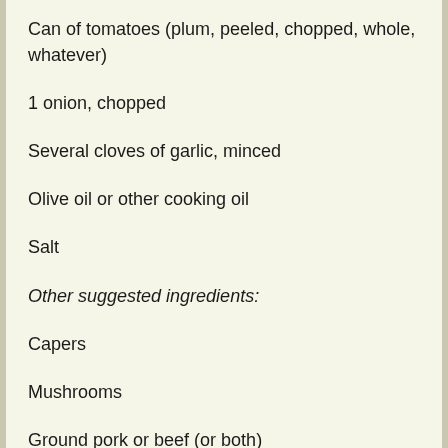Can of tomatoes (plum, peeled, chopped, whole, whatever)
1 onion, chopped
Several cloves of garlic, minced
Olive oil or other cooking oil
Salt
Other suggested ingredients:
Capers
Mushrooms
Ground pork or beef (or both)